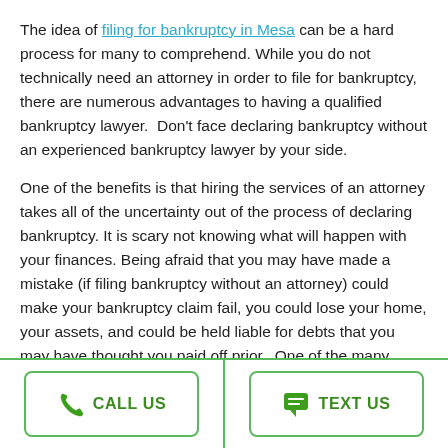The idea of filing for bankruptcy in Mesa can be a hard process for many to comprehend. While you do not technically need an attorney in order to file for bankruptcy, there are numerous advantages to having a qualified bankruptcy lawyer.  Don't face declaring bankruptcy without an experienced bankruptcy lawyer by your side.
One of the benefits is that hiring the services of an attorney takes all of the uncertainty out of the process of declaring bankruptcy. It is scary not knowing what will happen with your finances. Being afraid that you may have made a mistake (if filing bankruptcy without an attorney) could make your bankruptcy claim fail, you could lose your home, your assets, and could be held liable for debts that you may have thought you paid off prior.  One of the many pitfalls of filing
[Figure (infographic): Footer bar with two buttons: CALL US (phone icon) and TEXT US (message icon), separated by a green vertical divider, with green borders and labels.]